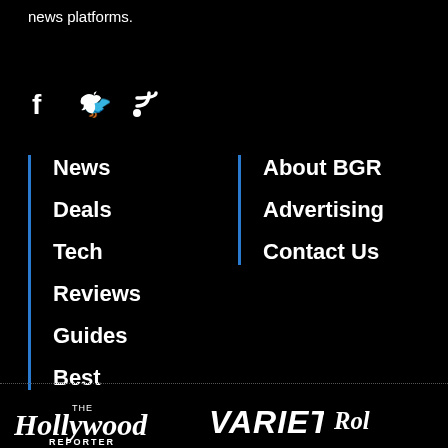news platforms.
[Figure (illustration): Social media icons: Facebook (f), Twitter (bird/checkmark), RSS feed icon]
News
Deals
Tech
Reviews
Guides
Best
About BGR
Advertising
Contact Us
[Figure (logo): The Hollywood Reporter logo in white italic serif font]
[Figure (logo): Variety logo in white italic bold font]
[Figure (logo): Rolling Stone logo (partially visible, showing 'Rol') in white italic serif font]